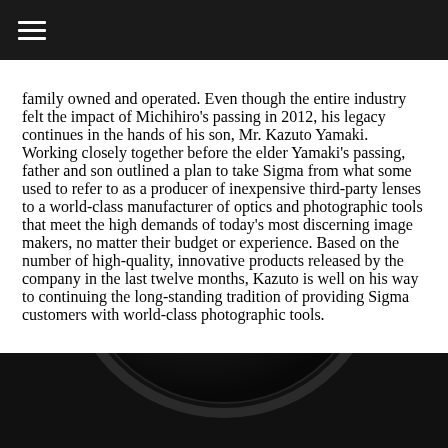☰
family owned and operated. Even though the entire industry felt the impact of Michihiro's passing in 2012, his legacy continues in the hands of his son, Mr. Kazuto Yamaki. Working closely together before the elder Yamaki's passing, father and son outlined a plan to take Sigma from what some used to refer to as a producer of inexpensive third-party lenses to a world-class manufacturer of optics and photographic tools that meet the high demands of today's most discerning image makers, no matter their budget or experience. Based on the number of high-quality, innovative products released by the company in the last twelve months, Kazuto is well on his way to continuing the long-standing tradition of providing Sigma customers with world-class photographic tools.
[Figure (photo): Bottom portion of a camera lens, showing the circular front element in dark/black tones against a dark background]